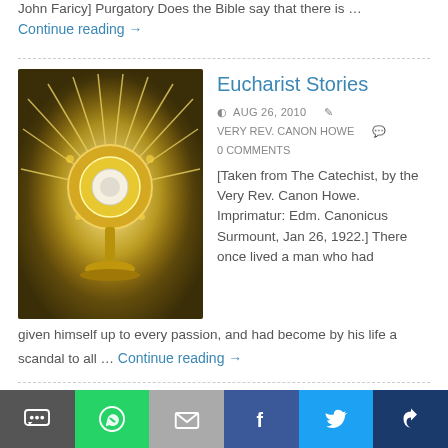John Faricy] Purgatory Does the Bible say that there is …
Continue reading →
Eucharist Stories
AUG 26, 2010   VERY REV. CANON HOWE   0 COMMENTS
[Figure (photo): Photo of an ornate gold monstrance with radiating rays, used in Catholic Eucharistic adoration.]
[Taken from The Catechist, by the Very Rev. Canon Howe. Imprimatur: Edm. Canonicus Surmount, Jan 26, 1922.] There once lived a man who had given himself up to every passion, and had become by his life a scandal to all … Continue reading →
The Old Testament Was Fulfilled in Jesus and the C…
[Figure (photo): Stained glass image of Jesus and other figures.]
[Figure (screenshot): Social sharing bar with SMS, WhatsApp, Mail, Facebook, Twitter, and other share buttons.]